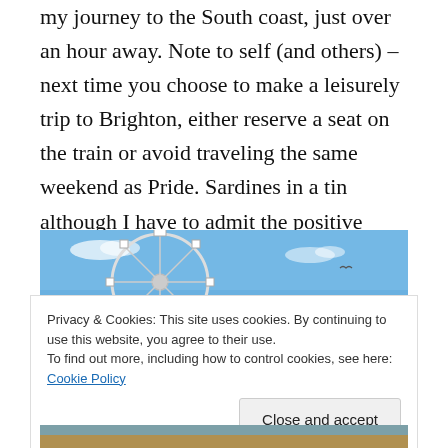my journey to the South coast, just over an hour away. Note to self (and others) – next time you choose to make a leisurely trip to Brighton, either reserve a seat on the train or avoid traveling the same weekend as Pride. Sardines in a tin although I have to admit the positive energy and bright outfits cheered up the crowded carriage no end.
[Figure (photo): Ferris wheel against a blue sky with light clouds]
Privacy & Cookies: This site uses cookies. By continuing to use this website, you agree to their use. To find out more, including how to control cookies, see here: Cookie Policy
Close and accept
[Figure (photo): Beach scene viewed from above]